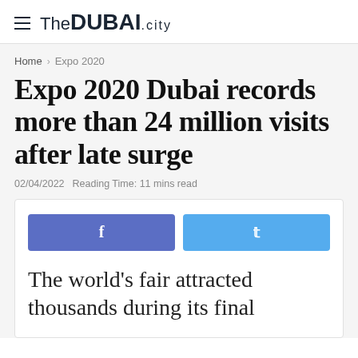The DUBAI .city
Home > Expo 2020
Expo 2020 Dubai records more than 24 million visits after late surge
02/04/2022  Reading Time: 11 mins read
[Figure (infographic): Social share buttons: Facebook (blue-purple) and Twitter (light blue) side by side]
The world's fair attracted thousands during its final